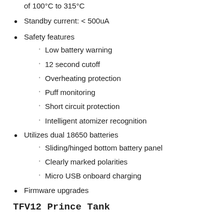of 100°C to 315°C
Standby current: < 500uA
Safety features
Low battery warning
12 second cutoff
Overheating protection
Puff monitoring
Short circuit protection
Intelligent atomizer recognition
Utilizes dual 18650 batteries
Sliding/hinged bottom battery panel
Clearly marked polarities
Micro USB onboard charging
Firmware upgrades
TFV12 Prince Tank